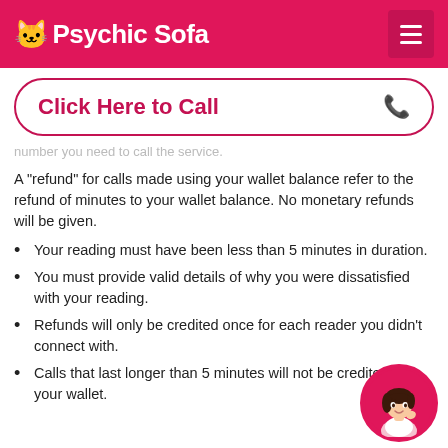Psychic Sofa
Click Here to Call
number you need to call the service.
A "refund" for calls made using your wallet balance refer to the refund of minutes to your wallet balance. No monetary refunds will be given.
Your reading must have been less than 5 minutes in duration.
You must provide valid details of why you were dissatisfied with your reading.
Refunds will only be credited once for each reader you didn't connect with.
Calls that last longer than 5 minutes will not be credited to your wallet.